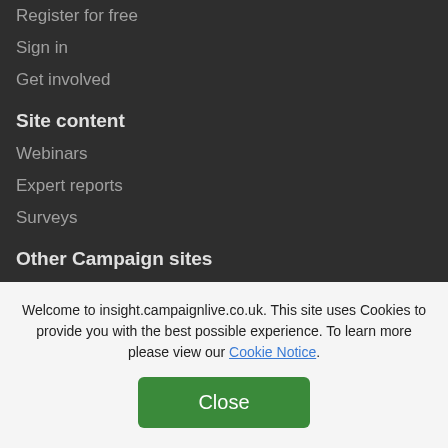Register for free
Sign in
Get involved
Site content
Webinars
Expert reports
Surveys
Other Campaign sites
Campaign UK
Campaign US
Campaign Middle East
Campaign Turkey
Welcome to insight.campaignlive.co.uk. This site uses Cookies to provide you with the best possible experience. To learn more please view our Cookie Notice.